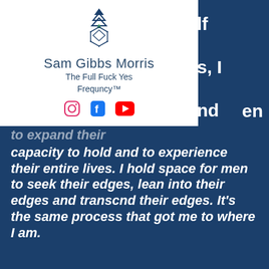[Figure (logo): Sam Gibbs Morris logo with geometric diamond/icosahedron shape and upward arrows above it]
Sam Gibbs Morris
The Full Fuck Yes
Frequncy™
[Figure (illustration): Social media icons: Instagram, Facebook, YouTube]
capacity to hold and to experience their entire lives. I hold space for men to seek their edges, lean into their edges and transcnd their edges. It's the same process that got me to where I am.